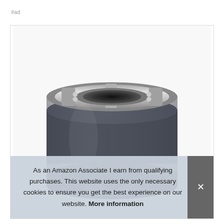#ad
[Figure (photo): InSinkErator Evolution Compact garbage disposal unit, shown from above at slight angle, dark grey body with silver metallic top mount ring, brand label reading 'InSinkErator® Evolution Compact®']
As an Amazon Associate I earn from qualifying purchases. This website uses the only necessary cookies to ensure you get the best experience on our website. More information